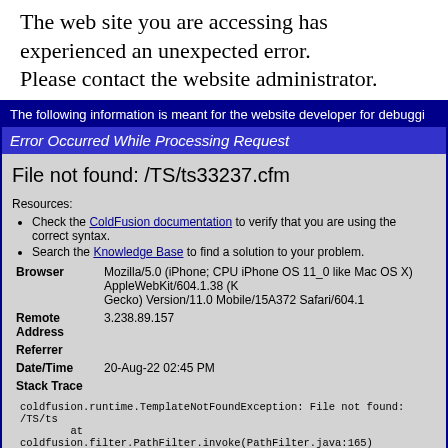The web site you are accessing has experienced an unexpected error.
Please contact the website administrator.
The following information is meant for the website developer for debugging
Error Occurred While Processing Request
File not found: /TS/ts33237.cfm
Resources:
Check the ColdFusion documentation to verify that you are using the correct syntax.
Search the Knowledge Base to find a solution to your problem.
| Field | Value |
| --- | --- |
| Browser | Mozilla/5.0 (iPhone; CPU iPhone OS 11_0 like Mac OS X) AppleWebKit/604.1.38 (KHTML, like Gecko) Version/11.0 Mobile/15A372 Safari/604.1 |
| Remote Address | 3.238.89.157 |
| Referrer |  |
| Date/Time | 20-Aug-22 02:45 PM |
| Stack Trace |  |
coldfusion.runtime.TemplateNotFoundException: File not found: /TS/ts
        at coldfusion.filter.PathFilter.invoke(PathFilter.java:165)